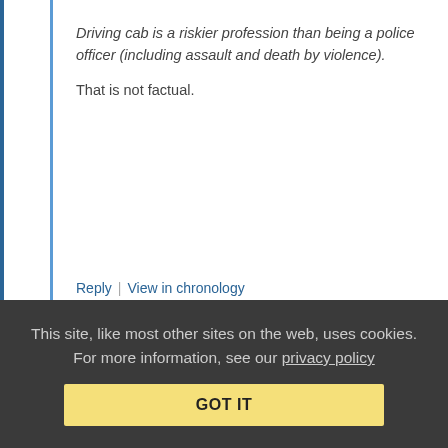Driving cab is a riskier profession than being a police officer (including assault and death by violence).
That is not factual.
Reply | View in chronology
[Figure (infographic): Row of 5 comment action icons: lightbulb (insightful), laughing face (funny), speech bubble with quotation marks (quote), smaller speech bubble with quotation marks, and flag icon]
Anonymous Coward   October 23, 2015 at 9:12 am
Overwhelming Anecdotal
This site, like most other sites on the web, uses cookies. For more information, see our privacy policy
GOT IT